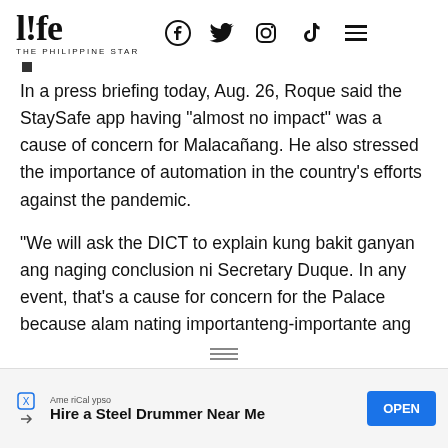life THE PHILIPPINE STAR
In a press briefing today, Aug. 26, Roque said the StaySafe app having “almost no impact” was a cause of concern for Malacañang. He also stressed the importance of automation in the country’s efforts against the pandemic.
“We will ask the DICT to explain kung bakit ganyan ang naging conclusion ni Secretary Duque. In any event, that’s a cause for concern for the Palace because alam nating importanteng-importante ang
[Figure (other): Advertisement banner: AmeriCalypso - Hire a Steel Drummer Near Me with OPEN button]